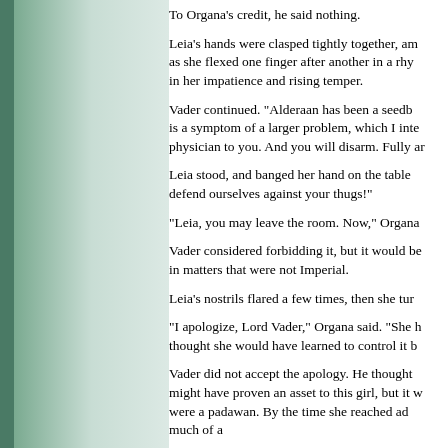To Organa's credit, he said nothing.
Leia's hands were clasped tightly together, and as she flexed one finger after another in a rhythmic pattern in her impatience and rising temper.
Vader continued. "Alderaan has been a seedbed... is a symptom of a larger problem, which I intend... physician to you. And you will disarm. Fully and..."
Leia stood, and banged her hand on the table... defend ourselves against your thugs!"
"Leia, you may leave the room. Now," Organa...
Vader considered forbidding it, but it would be... in matters that were not Imperial.
Leia's nostrils flared a few times, then she tur...
"I apologize, Lord Vader," Organa said. "She h... thought she would have learned to control it b...
Vader did not accept the apology. He thought... might have proven an asset to this girl, but it w... were a padawan. By the time she reached ad... much of a
(slave as)